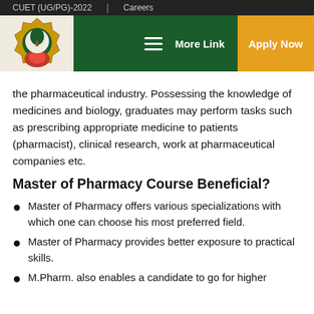CUET (UG/PG)-2022 | Careers
[Figure (logo): University emblem/badge logo in gold and red on light background, within dark green header bar with hamburger menu, More Link, and Apply Now button]
the pharmaceutical industry. Possessing the knowledge of medicines and biology, graduates may perform tasks such as prescribing appropriate medicine to patients (pharmacist), clinical research, work at pharmaceutical companies etc.
Master of Pharmacy Course Beneficial?
Master of Pharmacy offers various specializations with which one can choose his most preferred field.
Master of Pharmacy provides better exposure to practical skills.
M.Pharm. also enables a candidate to go for higher